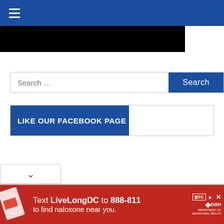Navigation menu bar with hamburger icon
[Figure (photo): Black rectangular image area below nav bar]
Search ...
Search
LIKE OUR FACEBOOK PAGE
[Figure (screenshot): Chevron/dropdown button at bottom left]
[Figure (infographic): Red advertisement banner: Text LiveLongDC to 888-811 to find naloxone near you. With DC and DBH logos.]